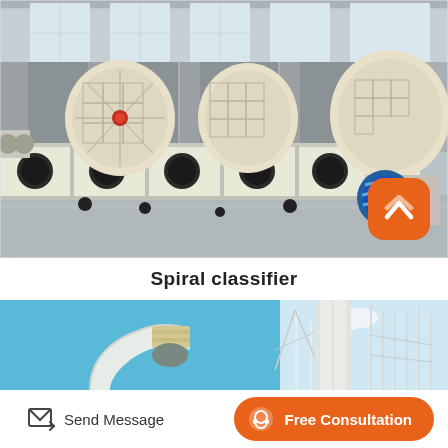[Figure (photo): Industrial spiral classifier machine in a factory setting. Long white trough with spiral mechanisms, large crusher/mill units visible in the background, motor with blue wrapping visible on right side. Indoor factory with concrete columns and skylights.]
Spiral classifier
[Figure (photo): Industrial piping and equipment — white curved pipes against blue sky on left, electrical transmission tower/pylons on right side.]
Send Message
Free Consultation